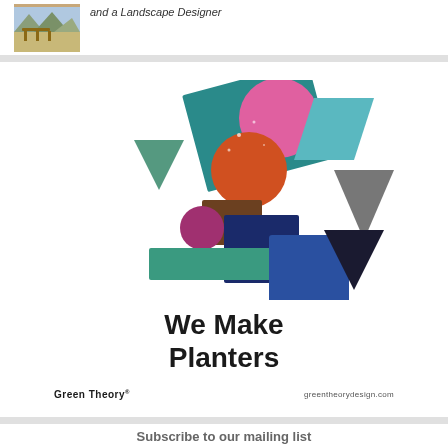[Figure (photo): Small thumbnail photo of outdoor patio/landscape with chairs and mountain view]
and a Landscape Designer
[Figure (illustration): Green Theory planter advertisement showing colorful 3D geometric planter shapes (rectangles, cubes, spheres, triangles) in teal, pink, orange, navy, blue, gray colors, with text 'We Make Planters', brand name 'Green Theory' and website 'greentheorydesign.com']
Subscribe to our mailing list